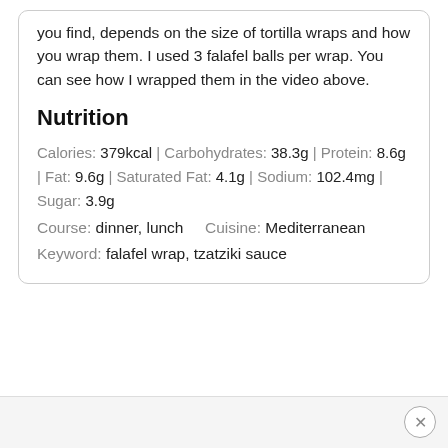you find, depends on the size of tortilla wraps and how you wrap them. I used 3 falafel balls per wrap. You can see how I wrapped them in the video above.
Nutrition
Calories: 379kcal | Carbohydrates: 38.3g | Protein: 8.6g | Fat: 9.6g | Saturated Fat: 4.1g | Sodium: 102.4mg | Sugar: 3.9g
Course: dinner, lunch    Cuisine: Mediterranean
Keyword: falafel wrap, tzatziki sauce